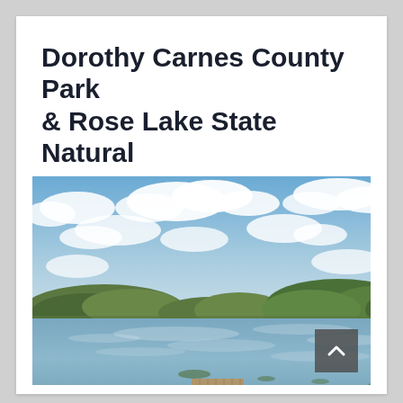Dorothy Carnes County Park & Rose Lake State Natural Area
[Figure (photo): Scenic photograph of a calm lake with a wooden dock/pier extending into the water from the foreground. The far shore is lined with low green trees and shrubs. The sky above is partly cloudy with blue sky and white cumulus clouds reflecting in the still water. Aquatic vegetation is visible near the dock.]